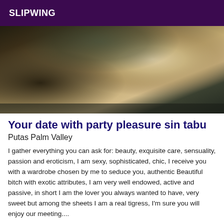SLIPWING
[Figure (photo): Close-up blurry photo showing textured fabric or fur surface with warm beige/tan tones and dark shadowed areas in background]
Your date with party pleasure sin tabu
Putas Palm Valley
I gather everything you can ask for: beauty, exquisite care, sensuality, passion and eroticism, I am sexy, sophisticated, chic, I receive you with a wardrobe chosen by me to seduce you, authentic Beautiful bitch with exotic attributes, I am very well endowed, active and passive, in short I am the lover you always wanted to have, very sweet but among the sheets I am a real tigress, I'm sure you will enjoy our meeting....